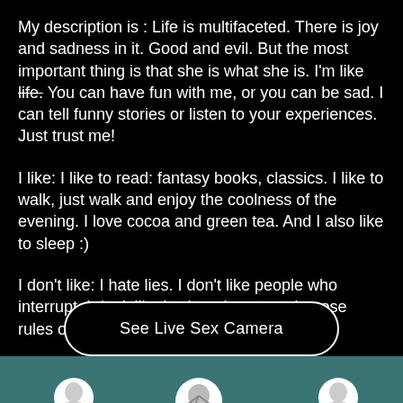My description is : Life is multifaceted. There is joy and sadness in it. Good and evil. But the most important thing is that she is what she is. I'm like life. You can have fun with me, or you can be sad. I can tell funny stories or listen to your experiences. Just trust me!
I like: I like to read: fantasy books, classics. I like to walk, just walk and enjoy the coolness of the evening. I love cocoa and green tea. And I also like to sleep :)
I don't like: I hate lies. I don't like people who interrupt. I don't like it when they try to impose rules on me or tell me what to do in life.
[Figure (other): A pill-shaped button with white border on black background labeled 'See Live Sex Camera']
[Figure (other): Teal bottom navigation bar with three partially visible circular user avatar icons]